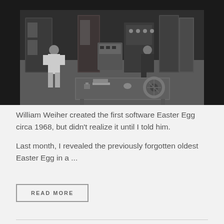[Figure (photo): Black and white photograph of a vintage 1960s mainframe computer room with two people operating large computer equipment and magnetic tape reels on a table in the foreground.]
William Weiher created the first software Easter Egg circa 1968, but didn't realize it until I told him.
Last month, I revealed the previously forgotten oldest Easter Egg in a ...
READ MORE